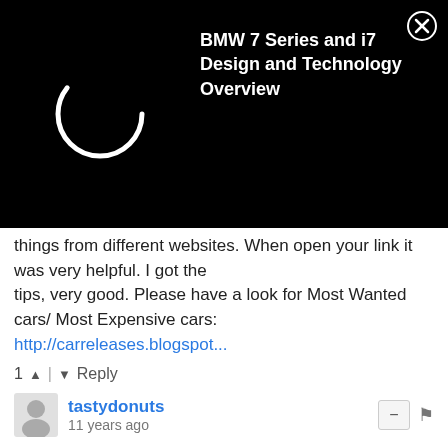[Figure (screenshot): Black overlay ad banner showing a loading spinner and text 'BMW 7 Series and i7 Design and Technology Overview' with a close (X) button]
things from different websites. When open your link it was very helpful. I got the tips, very good. Please have a look for Most Wanted cars/ Most Expensive cars: http://carreleases.blogspot...
1 ∧ | ∨ Reply
tastydonuts
11 years ago
Terrific write-up, thanks so much Hugo. I am always eager for more info on the X1 as I feel it is the logical replacement for my E46 325i, now that I am married with 2 dogs... really wish I had gotten the touring, or at least the fold-down rear seats.
I especially appreciate the notes on the N20. I am going to miss the silky NA I-6 - even my relatively modest M54B25 is oh so pleasing. But then I've driven my mother-in-law's A3 TDI which